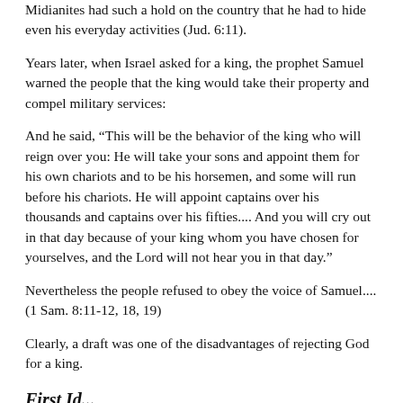Midianites had such a hold on the country that he had to hide even his everyday activities (Jud. 6:11).
Years later, when Israel asked for a king, the prophet Samuel warned the people that the king would take their property and compel military services:
And he said, “This will be the behavior of the king who will reign over you: He will take your sons and appoint them for his own chariots and to be his horsemen, and some will run before his chariots. He will appoint captains over his thousands and captains over his fifties.... And you will cry out in that day because of your king whom you have chosen for yourselves, and the Lord will not hear you in that day.”
Nevertheless the people refused to obey the voice of Samuel.... (1 Sam. 8:11-12, 18, 19)
Clearly, a draft was one of the disadvantages of rejecting God for a king.
First Id...